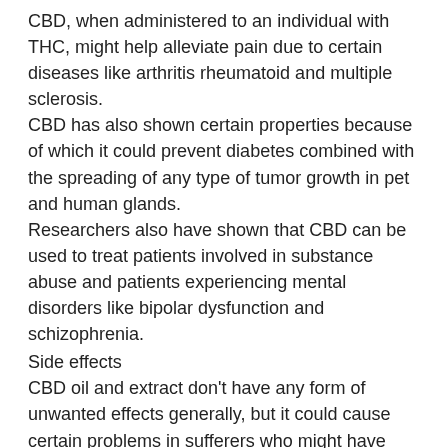CBD, when administered to an individual with THC, might help alleviate pain due to certain diseases like arthritis rheumatoid and multiple sclerosis.
CBD has also shown certain properties because of which it could prevent diabetes combined with the spreading of any type of tumor growth in pet and human glands.
Researchers also have shown that CBD can be used to treat patients involved in substance abuse and patients experiencing mental disorders like bipolar dysfunction and schizophrenia.
Side effects
CBD oil and extract don't have any form of unwanted effects generally, but it could cause certain problems in sufferers who might have developed an allergic attack to CBD. The side-effects include fatigue, any type of change in the fat or appetite or diarrhea.
CBD can be consumed in the form of candy or tea. It is